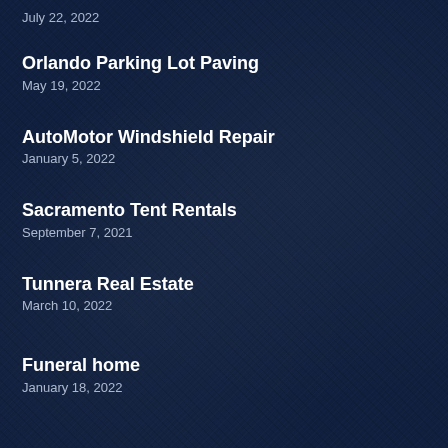July 22, 2022
Orlando Parking Lot Paving
May 19, 2022
AutoMotor Windshield Repair
January 5, 2022
Sacramento Tent Rentals
September 7, 2021
Tunnera Real Estate
March 10, 2022
Funeral home
January 18, 2022